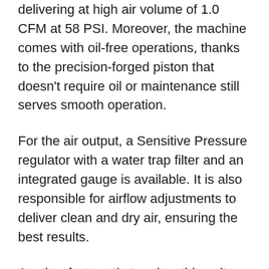delivering at high air volume of 1.0 CFM at 58 PSI. Moreover, the machine comes with oil-free operations, thanks to the precision-forged piston that doesn't require oil or maintenance still serves smooth operation.
For the air output, a Sensitive Pressure regulator with a water trap filter and an integrated gauge is available. It is also responsible for airflow adjustments to deliver clean and dry air, ensuring the best results.
Another feature that makes this unit one of the best airbrushes for beginners and professionals is its energy-saving mode. It is surely a great safety feature which if enabled lets the system automatically turn off at 58 PSI. However, as soon